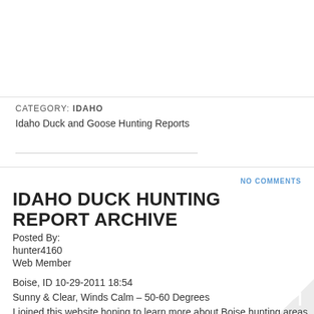CATEGORY: IDAHO
Idaho Duck and Goose Hunting Reports
NO COMMENTS
IDAHO DUCK HUNTING REPORT ARCHIVE
Posted By:
hunter4160
Web Member
Boise, ID 10-29-2011 18:54
Sunny & Clear, Winds Calm – 50-60 Degrees
I joined this website hoping to learn more about Boise hunting areas